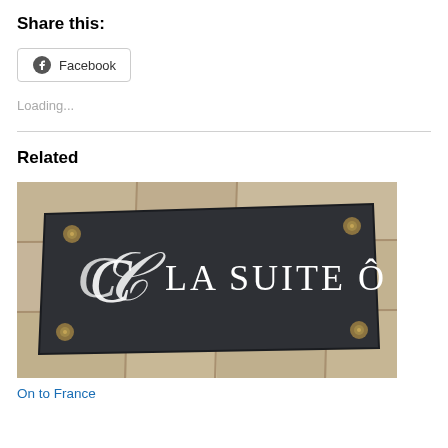Share this:
Facebook
Loading...
Related
[Figure (photo): A dark grey/black metal plaque mounted on a stone wall reading 'La Suite Ô' in white serif and script lettering, with brass bolt fasteners at the corners.]
On to France